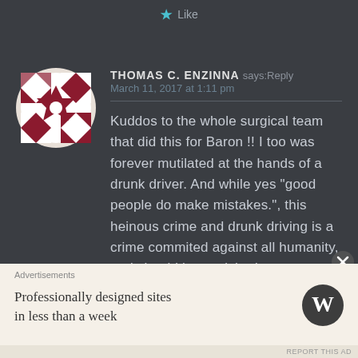Like
[Figure (illustration): User avatar — circular icon with geometric quilt-pattern design in dark red and white]
THOMAS C. ENZINNA says: Reply
March 11, 2017 at 1:11 pm
Kuddos to the whole surgical team that did this for Baron !! I too was forever mutilated at the hands of a drunk driver. And while yes “good people do make mistakes.”, this heinous crime and drunk driving is a crime commited against all humanity, and should be punished
Advertisements
Professionally designed sites in less than a week
[Figure (logo): WordPress logo — circular W mark in dark grey]